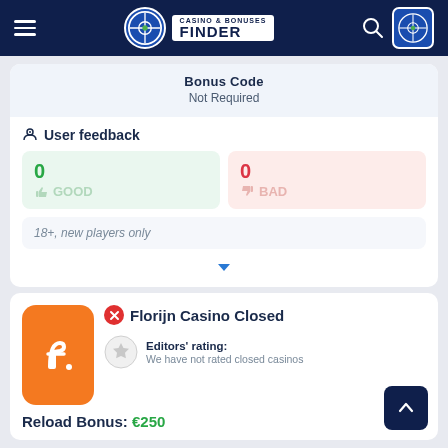Casino & Bonuses Finder
Bonus Code
Not Required
User feedback
0 GOOD
0 BAD
18+, new players only
Florijn Casino Closed
Editors' rating: We have not rated closed casinos
Reload Bonus: €250